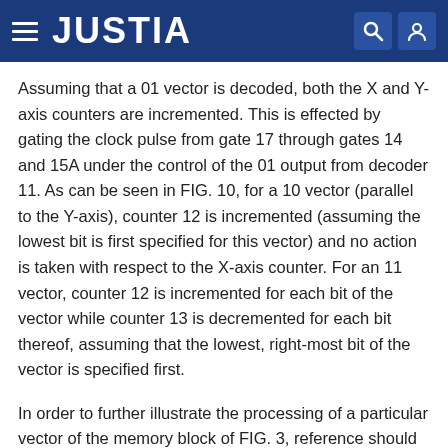JUSTIA
Assuming that a 01 vector is decoded, both the X and Y-axis counters are incremented. This is effected by gating the clock pulse from gate 17 through gates 14 and 15A under the control of the 01 output from decoder 11. As can be seen in FIG. 10, for a 10 vector (parallel to the Y-axis), counter 12 is incremented (assuming the lowest bit is first specified for this vector) and no action is taken with respect to the X-axis counter. For an 11 vector, counter 12 is incremented for each bit of the vector while counter 13 is decremented for each bit thereof, assuming that the lowest, right-most bit of the vector is specified first.
In order to further illustrate the processing of a particular vector of the memory block of FIG. 3, reference should be made to vector n. As can be appreciated from FIG. 3, the X-axis and the Y-axis